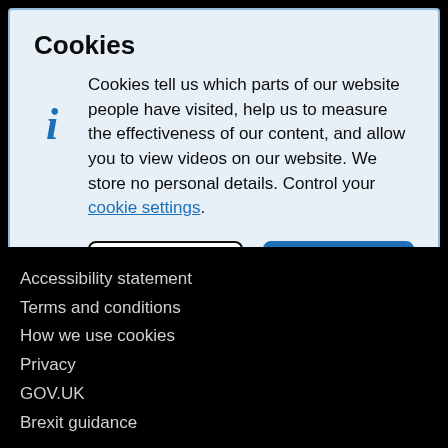Cookies
Cookies tell us which parts of our website people have visited, help us to measure the effectiveness of our content, and allow you to view videos on our website. We store no personal details. Control your cookie settings.
Accessibility statement
Terms and conditions
How we use cookies
Privacy
GOV.UK
Brexit guidance